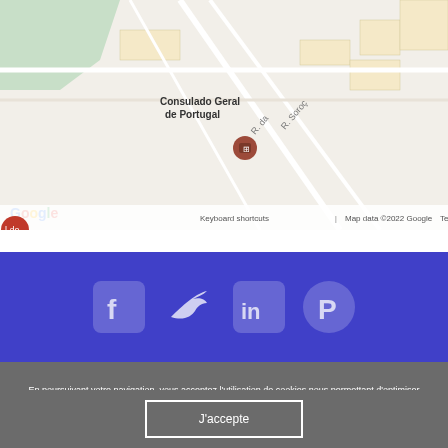[Figure (map): Google Maps screenshot showing Botafogo area in Rio de Janeiro, Brazil. Visible labels include 'de Rui Barbosa', 'R. São Clemente', 'Consulado Geral de Portugal', 'Botafogo', 'R. da', 'R. Soroç...', 'BC', 'Google', 'Keyboard shortcuts', 'Map data ©2022 Google', 'Terms of Use']
[Figure (infographic): Social media icons on blue/purple background: Facebook, Twitter, LinkedIn, Pinterest]
En poursuivant votre navigation, vous acceptez l'utilisation de cookies nous permettant d'optimiser votre expérience utilisateur. Vous souhaitez en savoir plus? Consultez notre Politique de confidentialité et Politique de cookies
J'accepte